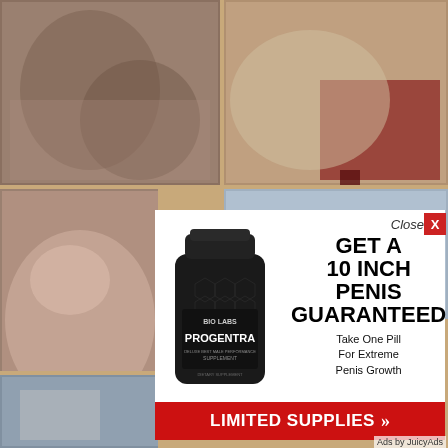[Figure (photo): Background collage of adult content photos arranged in a grid]
[Figure (illustration): Progentra pill bottle by BioLabs - black supplement bottle with hexagon pattern and PROGENTRA label]
GET A 10 INCH PENIS GUARANTEED
Take One Pill For Extreme Penis Growth
LIMITED SUPPLIES >>
Close X
Ads by JuicyAds